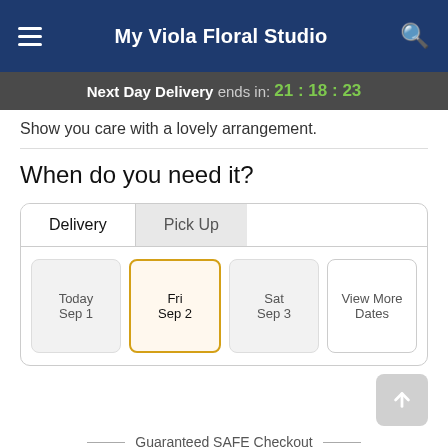My Viola Floral Studio
Next Day Delivery ends in: 21:18:23
Show you care with a lovely arrangement.
When do you need it?
Delivery | Pick Up
Today Sep 1 | Fri Sep 2 | Sat Sep 3 | View More Dates
Guaranteed SAFE Checkout
Order Now